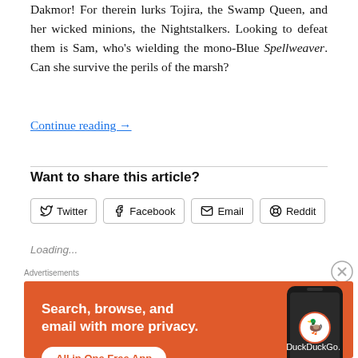Dakmor! For therein lurks Tojira, the Swamp Queen, and her wicked minions, the Nightstalkers. Looking to defeat them is Sam, who's wielding the mono-Blue Spellweaver. Can she survive the perils of the marsh?
Continue reading →
Want to share this article?
Twitter
Facebook
Email
Reddit
Loading...
[Figure (screenshot): DuckDuckGo advertisement banner with orange background. Text reads: 'Search, browse, and email with more privacy. All in One Free App' with DuckDuckGo logo and a smartphone mockup on the right side.]